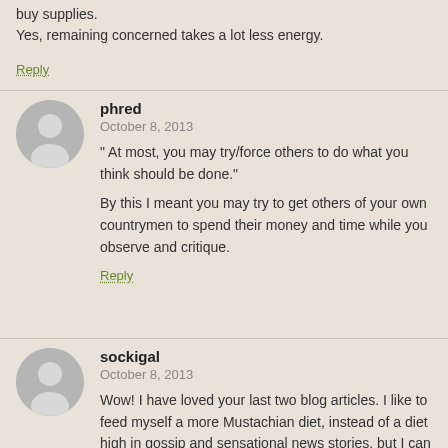buy supplies.
Yes, remaining concerned takes a lot less energy.
Reply
phred
October 8, 2013
" At most, you may try/force others to do what you think should be done."

By this I meant you may try to get others of your own countrymen to spend their money and time while you observe and critique.

Reply
sockigal
October 8, 2013
Wow! I have loved your last two blog articles. I like to feed myself a more Mustachian diet, instead of a diet high in gossip and sensational news stories, but I can still get sucked into watching loads of TV programs. Hard to get away from the Facebook, CNN, and other news outlets, but over the years I have noticed news becoming less